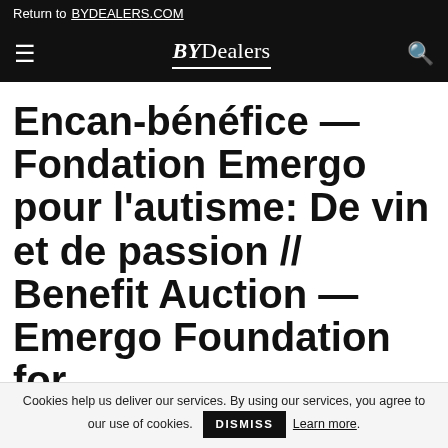Return to BYDEALERS.COM
[Figure (logo): BYDealers navigation bar with hamburger menu, logo, and search icon]
Encan-bénéfice — Fondation Emergo pour l'autisme: De vin et de passion // Benefit Auction — Emergo Foundation for
Cookies help us deliver our services. By using our services, you agree to our use of cookies. DISMISS Learn more.